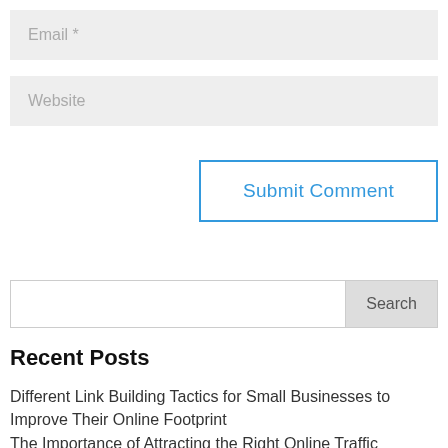Email *
Website
Submit Comment
Search
Recent Posts
Different Link Building Tactics for Small Businesses to Improve Their Online Footprint
The Importance of Attracting the Right Online Traffic